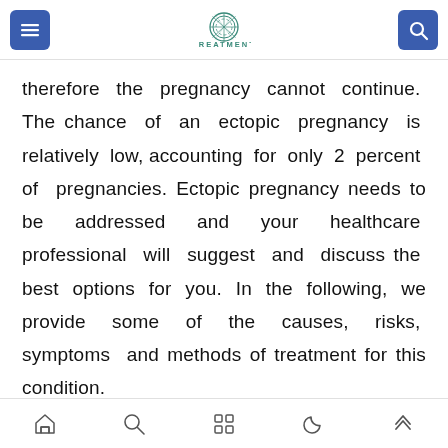TREATMENT
therefore the pregnancy cannot continue. The chance of an ectopic pregnancy is relatively low, accounting for only 2 percent of pregnancies. Ectopic pregnancy needs to be addressed and your healthcare professional will suggest and discuss the best options for you. In the following, we provide some of the causes, risks, symptoms and methods of treatment for this condition.
Causes of an ectopic pregnancy
navigation icons: home, search, grid, moon, up